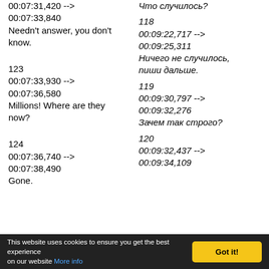00:07:31,420 -->
Что случилось?
00:07:33,840
Needn't answer, you don't know.
118
00:09:22,717 -->
00:09:25,311
Ничего не случилось, пиши дальше.
123
00:07:33,930 -->
00:07:36,580
Millions! Where are they now?
119
00:09:30,797 -->
00:09:32,276
Зачем так строго?
124
00:07:36,740 -->
00:07:38,490
Gone.
120
00:09:32,437 -->
00:09:34,109
This website uses cookies to ensure you get the best experience on our website More info
Got it!